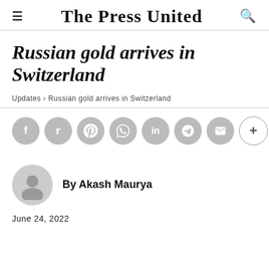The Press United
Russian gold arrives in Switzerland
Updates › Russian gold arrives in Switzerland
[Figure (other): Social sharing buttons: Facebook, Twitter, Reddit, WhatsApp, LinkedIn, Pinterest, Email, More]
[Figure (other): Author avatar placeholder circle]
By Akash Maurya
June 24, 2022